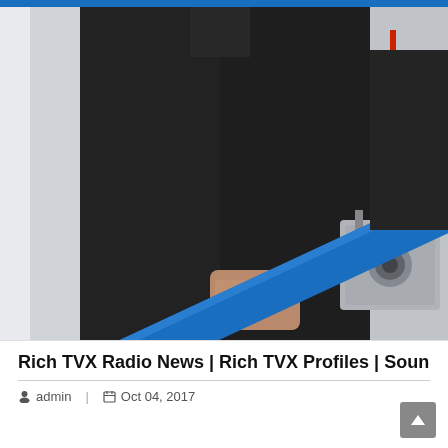[Figure (photo): A person wearing a dark jacket holding a blue railing or barrier. They have a camera or media equipment hanging around their neck. The background is light/white. A blue horizontal stripe is visible across the image.]
Rich TVX Radio News | Rich TVX Profiles | Soundwave
admin   |   Oct 04, 2017